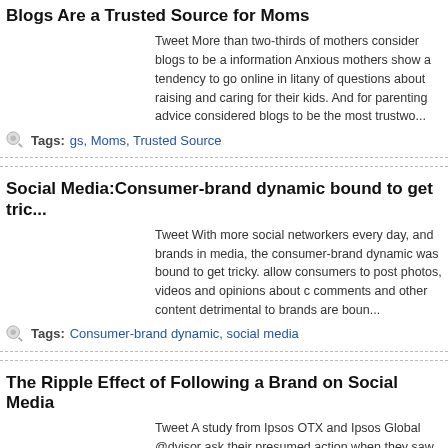Blogs Are a Trusted Source for Moms
Tweet More than two-thirds of mothers consider blogs to be a information Anxious mothers show a tendency to go online in litany of questions about raising and caring for their kids. And for parenting advice considered blogs to be the most trustwo...
Tags: gs, Moms, Trusted Source
Social Media:Consumer-brand dynamic bound to get tric...
Tweet With more social networkers every day, and brands in media, the consumer-brand dynamic was bound to get tricky. allow consumers to post photos, videos and opinions about c comments and other content detrimental to brands are boun...
Tags: Consumer-brand dynamic, social media
The Ripple Effect of Following a Brand on Social Media
Tweet A study from Ipsos OTX and Ipsos Global @dvisor ask their presumed action when they saw that a friend "liked" or f network such as Facebook or Twitter. In March 2012, 22% of would buy such a brand. But in the US, that number...
Tags: follow brand, social media
NEXT »